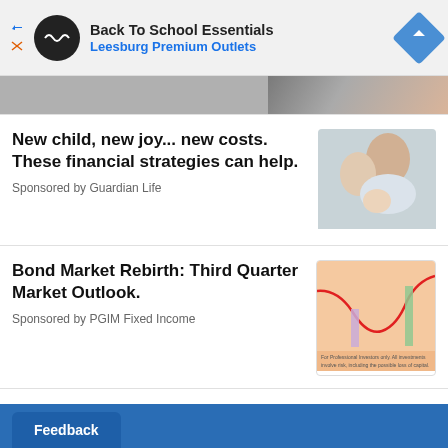[Figure (other): Advertisement banner: Back To School Essentials, Leesburg Premium Outlets with logo icon and direction arrow]
[Figure (photo): Top strip showing partial image, dark background with light skin tones]
New child, new joy... new costs. These financial strategies can help.
Sponsored by Guardian Life
[Figure (photo): Photo of parents holding a newborn baby]
Bond Market Rebirth: Third Quarter Market Outlook.
Sponsored by PGIM Fixed Income
[Figure (continuous-plot): Chart showing bond market curve with red line dipping and rising, colored vertical bars on peach background. Text: For Professional Investors only. All investments involve risk, including the possible loss of capital.]
United States
Feedback